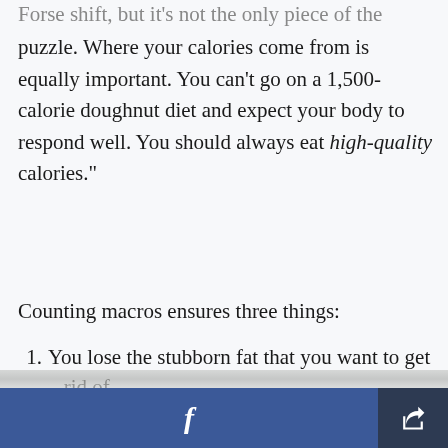Forse shift, but it's not the only piece of the puzzle. Where your calories come from is equally important. You can't go on a 1,500-calorie doughnut diet and expect your body to respond well. You should always eat high-quality calories."
Counting macros ensures three things:
1. You lose the stubborn fat that you want to get rid of.
2. You maintain lean muscle mass.
3. Your body stays satiated.
f [Facebook share button] [Share icon button]